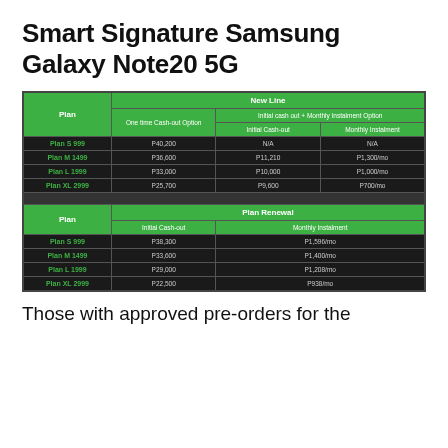Smart Signature Samsung Galaxy Note20 5G
| Plan | One time Cash-out Option | Initial Cash-out | Monthly Instalment |
| --- | --- | --- | --- |
| Plan S 999 | P40,200 | N/A | N/A |
| Plan M 1499 | P36,600 | P11,210 | P1,300/mo |
| Plan L 1999 | P33,000 | P10,000 | P1,000/mo |
| Plan XL 2999 | P25,700 | P9,600 | P700/mo |
| Plan | Initial Cash-out | Monthly Instalment |
| --- | --- | --- |
| Plan S 999 | P38,300 | P1,596/mo |
| Plan M 1499 | P33,600 | P1,400/mo |
| Plan L 1999 | P29,000 | P1,208/mo |
| Plan XL 2999 | P22,500 | P938/mo |
Those with approved pre-orders for the